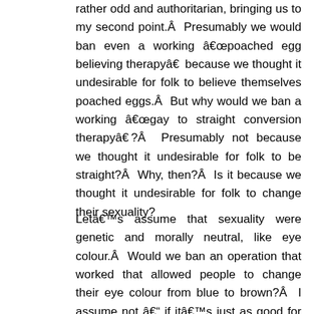rather odd and authoritarian, bringing us to my second point.Â  Presumably we would ban even a working â€œpoached egg believing therapyâ€ because we thought it undesirable for folk to believe themselves poached eggs.Â  But why would we ban a working â€œgay to straight conversion therapyâ€?Â  Presumably not because we thought it undesirable for folk to be straight?Â  Why, then?Â  Is it because we thought it undesirable for folk to change their sexuality?
Letâ€™s assume that sexuality were genetic and morally neutral, like eye colour.Â  Would we ban an operation that worked that allowed people to change their eye colour from blue to brown?Â  I assume not â€“ if itâ€™s just as good for eyes to be blue as brown then itâ€™s surely ethically